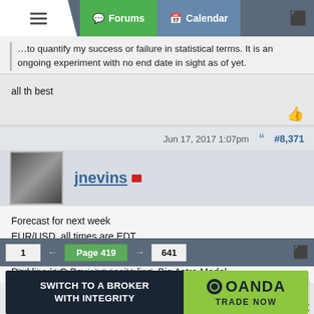Forums | Calendar
...to quantify my success or failure in statistical terms. It is an ongoing experiment with no end date in sight as of yet.
all th best
Jun 17, 2017 1:07pm  #8,371
jnevins
Forecast for next week
EUR/USD, all times are EDT

Green Line is Mars-Saturn Phase 6th harmonic, 50% sm orb
Red line is Q Box composite line, Big Astro Model
Attached Images (click to enlarge)
[Figure (line-chart): Chart showing green and red oscillating lines against a light pink/white background with vertical gridlines — EUR/USD forecast chart]
1  ←  Page 419  →  641
[Figure (other): OANDA advertisement banner: SWITCH TO A BROKER WITH INTEGRITY | OANDA TRADE NOW]